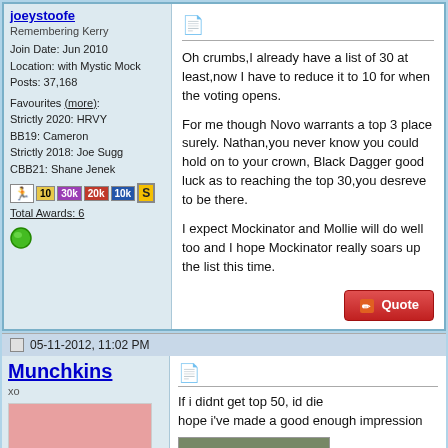joeystoofe - Remembering Kerry
Join Date: Jun 2010
Location: with Mystic Mock
Posts: 37,168
Favourites (more):
Strictly 2020: HRVY
BB19: Cameron
Strictly 2018: Joe Sugg
CBB21: Shane Jenek
Total Awards: 6
Oh crumbs,I already have a list of 30 at least,now I have to reduce it to 10 for when the voting opens.

For me though Novo warrants a top 3 place surely. Nathan,you never know you could hold on to your crown, Black Dagger good luck as to reaching the top 30,you desreve to be there.

I expect Mockinator and Mollie will do well too and I hope Mockinator really soars up the list this time.
05-11-2012, 11:02 PM
Munchkins
xo
If i didnt get top 50, id die
hope i've made a good enough impression